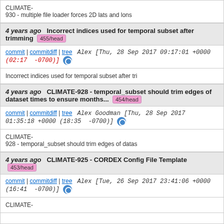CLIMATE-930 - multiple file loader forces 2D lats and lons
4 years ago Incorrect indices used for temporal subset after trimming 455/head
commit | commitdiff | tree Alex [Thu, 28 Sep 2017 09:17:01 +0000 (02:17 -0700)]
Incorrect indices used for temporal subset after tri
4 years ago CLIMATE-928 - temporal_subset should trim edges of dataset times to ensure months... 454/head
commit | commitdiff | tree Alex Goodman [Thu, 28 Sep 2017 01:35:18 +0000 (18:35 -0700)]
CLIMATE-928 - temporal_subset should trim edges of datas
4 years ago CLIMATE-925 - CORDEX Config File Template 453/head
commit | commitdiff | tree Alex [Tue, 26 Sep 2017 23:41:06 +0000 (16:41 -0700)]
CLIMATE-